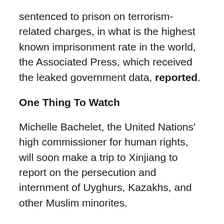sentenced to prison on terrorism-related charges, in what is the highest known imprisonment rate in the world, the Associated Press, which received the leaked government data, reported.
One Thing To Watch
Michelle Bachelet, the United Nations' high commissioner for human rights, will soon make a trip to Xinjiang to report on the persecution and internment of Uyghurs, Kazakhs, and other Muslim minorites.
But hopes are low about what the trip will